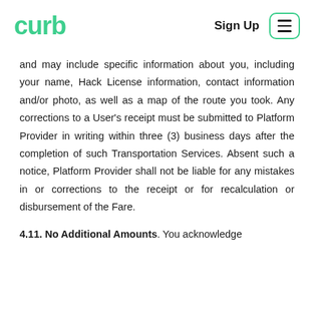curb | Sign Up
and may include specific information about you, including your name, Hack License information, contact information and/or photo, as well as a map of the route you took. Any corrections to a User's receipt must be submitted to Platform Provider in writing within three (3) business days after the completion of such Transportation Services. Absent such a notice, Platform Provider shall not be liable for any mistakes in or corrections to the receipt or for recalculation or disbursement of the Fare.
4.11. No Additional Amounts. You acknowledge